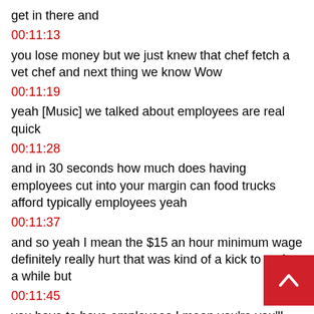get in there and
00:11:13
you lose money but we just knew that chef fetch a vet chef and next thing we know Wow
00:11:19
yeah [Music] we talked about employees are real quick
00:11:28
and in 30 seconds how much does having employees cut into your margin can food trucks afford typically employees yeah
00:11:37
and so yeah I mean the $15 an hour minimum wage definitely really hurt that was kind of a kick to us for a while but
00:11:45
you have to have employees I mean you're you'll drive yourself into the ground it's it's a hard job so I would